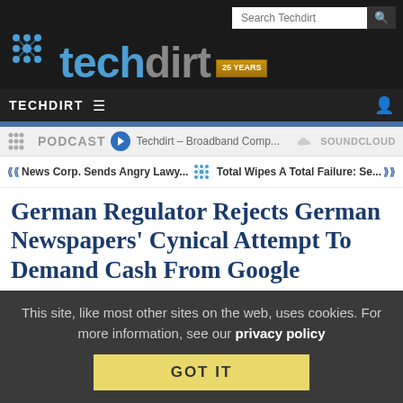Techdirt
[Figure (logo): Techdirt logo with network/dots icon, '25 YEARS' badge, and stylized techdirt text]
TECHDIRT
[Figure (screenshot): Podcast bar: PODCAST label, play button, 'Techdirt - Broadband Comp...' title, SOUNDCLOUD logo]
<< News Corp. Sends Angry Lawy...   Total Wipes A Total Failure: Se... >>
German Regulator Rejects German Newspapers' Cynical Attempt To Demand Cash From Google
from the nice-try-but-no dept
This site, like most other sites on the web, uses cookies. For more information, see our privacy policy
GOT IT